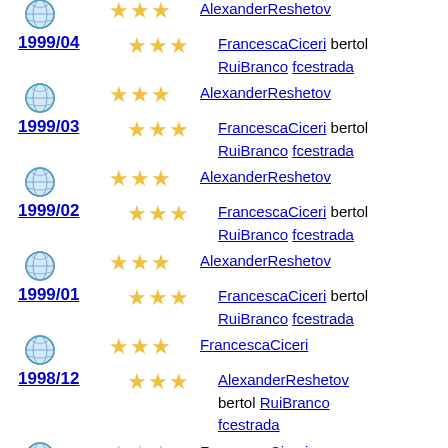1999/04 - AlexanderReshetov, FrancescaCiceri bertol, RuiBranco fcestrada
1999/03 - AlexanderReshetov, FrancescaCiceri bertol, RuiBranco fcestrada
1999/02 - AlexanderReshetov, FrancescaCiceri bertol, RuiBranco fcestrada
1999/01 - AlexanderReshetov, FrancescaCiceri bertol, RuiBranco fcestrada
1998/12 - FrancescaCiceri, AlexanderReshetov, bertol RuiBranco, fcestrada
1998/11 - FrancescaCiceri, AlexanderReshetov, bertol RuiBranco